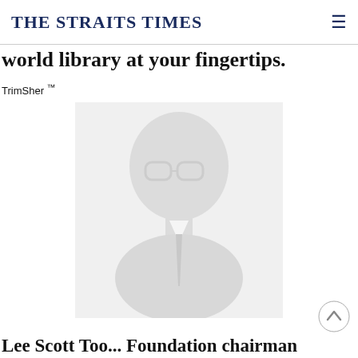THE STRAITS TIMES
world library at your fingertips.
TrimSher ™
[Figure (photo): Faded portrait photo of a man wearing glasses and a suit with a tie, light grey/white tones]
Lee Scott Too... Foundation chairman